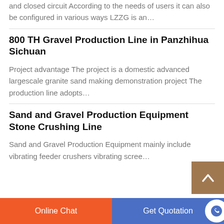and closed circuit According to the needs of users it can also be configured in various ways LZZG is an…
800 TH Gravel Production Line in Panzhihua Sichuan
Project advantage The project is a domestic advanced largescale granite sand making demonstration project The production line adopts…
Sand and Gravel Production Equipment Stone Crushing Line
Sand and Gravel Production Equipment mainly include vibrating feeder crushers vibrating scree…
Online Chat
Get Quotation